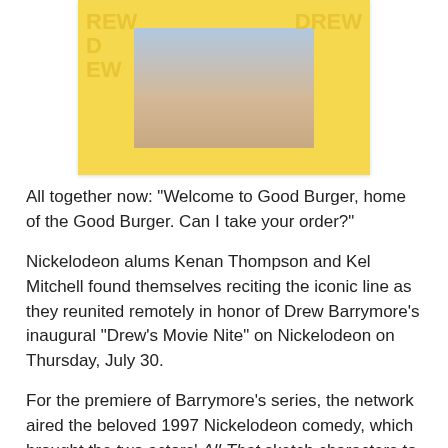[Figure (photo): A still from The Drew Barrymore Show with a woman on screen, yellow background with 'DREW' text repeated.]
All together now: "Welcome to Good Burger, home of the Good Burger. Can I take your order?"
Nickelodeon alums Kenan Thompson and Kel Mitchell found themselves reciting the iconic line as they reunited remotely in honor of Drew Barrymore's inaugural "Drew's Movie Nite" on Nickelodeon on Thursday, July 30.
For the premiere of Barrymore's series, the network aired the beloved 1997 Nickelodeon comedy, which brought the two actors' All That sketch characters to life on the big screen all those years ago.
In celebration of the special night, the comedians reflected on their hit sketch and starring in the movie—Mitchell's first ever, dishing on the making of the movie, their life years later, and their first forays into the world of acting.